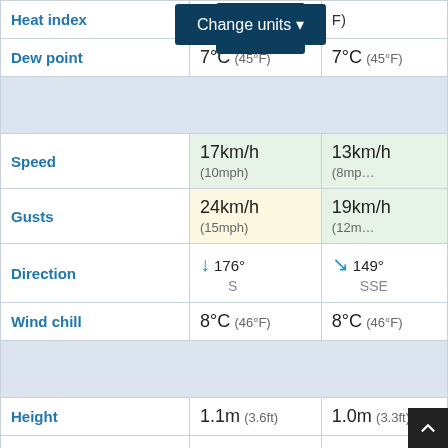|  | Col1 | Col2 |
| --- | --- | --- |
| Heat index | 1… [Change units] | (F) |
| Dew point | 7°C (45°F) | 7°C (45°F) |
| [blue section] |  |  |
| Speed | 17km/h (10mph) | 13km/h (8mph) |
| Gusts | 24km/h (15mph) | 19km/h (12mph) |
| Direction | ↓ 176° S | ↘ 149° SSE |
| Wind chill | 8°C (46°F) | 8°C (46°F) |
| [blue section] |  |  |
| Height | 1.1m (3.6ft) | 1.0m (3.3ft) |
| Direction | ↙ 200° SSW | ↙ 200° SSW |